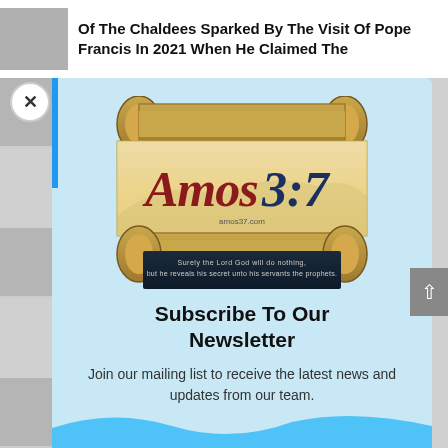Of The Chaldees Sparked By The Visit Of Pope Francis In 2021 When He Claimed The
[Figure (logo): Amos 3:7 website logo — a decorative scroll graphic with 'Amos 3:7' text in red and blue serif letters, with tagline 'Surely the Lord God will do nothing, but he reveals his secret unto his servants the prophets.' and website URL amos37.com]
Subscribe To Our Newsletter
Join our mailing list to receive the latest news and updates from our team.